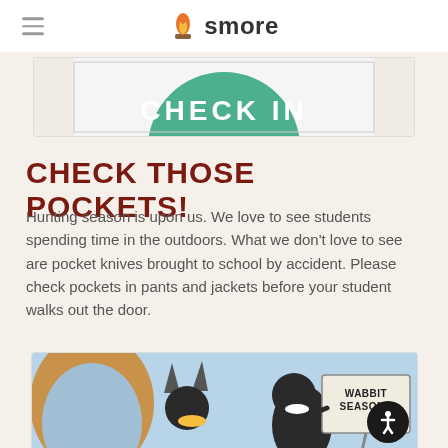smore
[Figure (screenshot): Partial view of a green circle with text 'CHECK IN' on a white card against a light background]
CHECK THOSE POCKETS!
Hunting season is upon us. We love to see students spending time in the outdoors. What we don't love to see are pocket knives brought to school by accident. Please check pockets in pants and jackets before your student walks out the door.
[Figure (illustration): Cartoon illustration of Looney Tunes characters - Daffy Duck holding a 'WABBIT SEASON!!' sign, with another character visible on the left side]